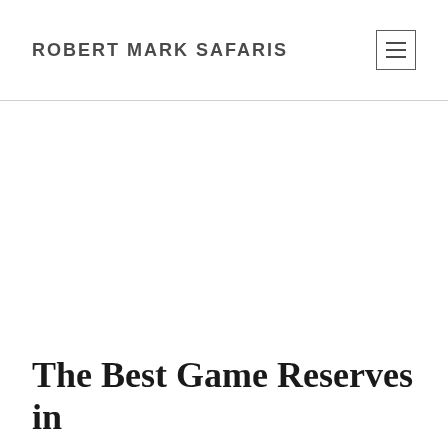ROBERT MARK SAFARIS
The Best Game Reserves in